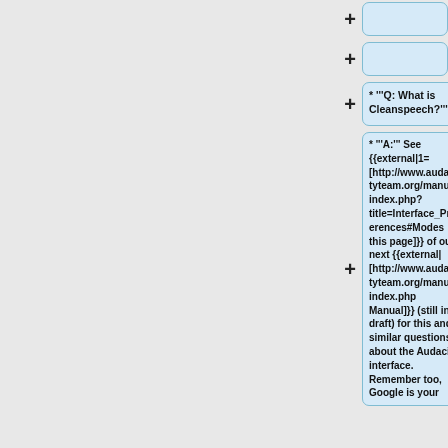(empty box 1)
(empty box 2)
* '''Q: What is Cleanspeech?'''
* '''A:''' See {{external|1=[http://www.audacityteam.org/manual/index.php?title=Interface_Preferences#Modes this page]}} of our next {{external|[http://www.audacityteam.org/manual/index.php Manual]}} (still in draft) for this and similar questions about the Audacity interface. Remember too, Google is your